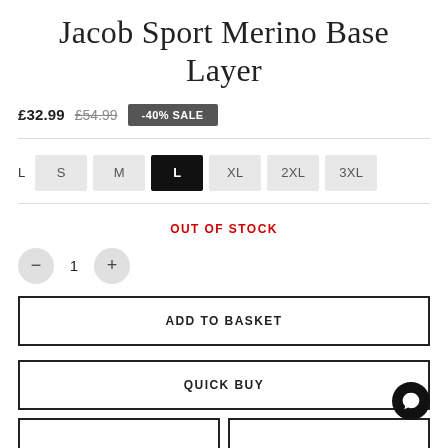Jacob Sport Merino Base Layer
£32.99  £54.99  -40% SALE
L  S  M  L  XL  2XL  3XL
OUT OF STOCK
- 1 +
ADD TO BASKET
QUICK BUY